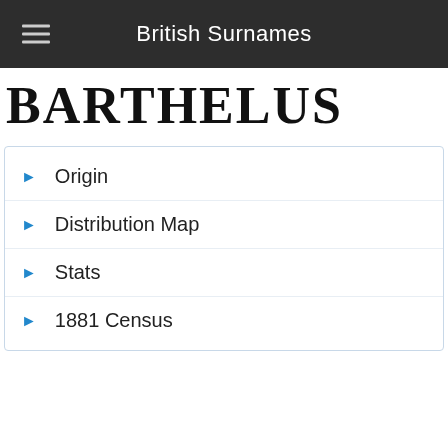British Surnames
BARTHELUS
Origin
Distribution Map
Stats
1881 Census